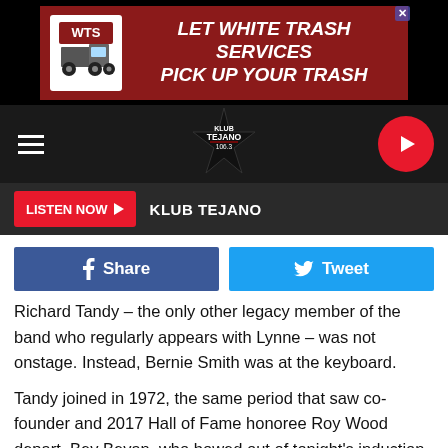[Figure (screenshot): White Trash Services advertisement banner with truck logo and dark red background]
[Figure (logo): Klub Tejano 106.9 star logo on dark navigation bar with hamburger menu and play button]
LISTEN NOW  KLUB TEJANO
f Share   Tweet
Richard Tandy – the only other legacy member of the band who regularly appears with Lynne – was not onstage. Instead, Bernie Smith was at the keyboard.
Tandy joined in 1972, the same period that saw co-founder and 2017 Hall of Fame honoree Roy Wood depart. Bev Bevan, who bowed out of tonight's induction ceremony because of touring obligations, was a member from 1970-86. Even before Bevan departed, Lynne was already playing a far more central role than in the band's early, more collaborative years